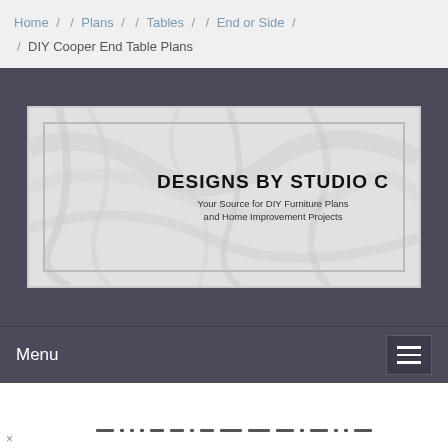Home / / Plans / / Tables / / End or Side / / DIY Cooper End Table Plans
[Figure (logo): Designs by Studio C logo banner with marble texture background. Text reads: DESIGNS BY STUDIO C — Your Source for DIY Furniture Plans and Home Improvement Projects]
Menu
— ... · — — · — ——— ——— ——· ——·—· ·